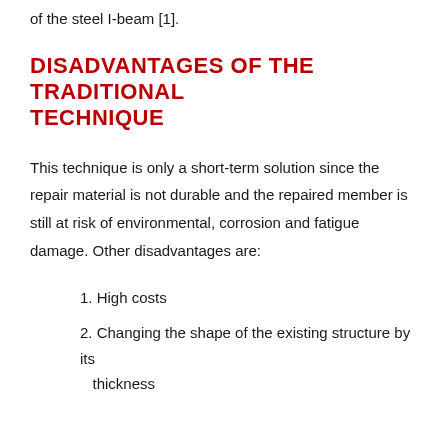of the steel I-beam [1].
DISADVANTAGES OF THE TRADITIONAL TECHNIQUE
This technique is only a short-term solution since the repair material is not durable and the repaired member is still at risk of environmental, corrosion and fatigue damage. Other disadvantages are:
1. High costs
2. Changing the shape of the existing structure by its thickness